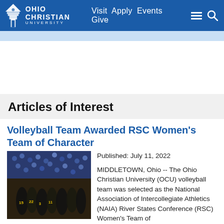Ohio Christian University — Visit Apply Events Give
Articles of Interest
Volleyball Team Awarded RSC Women's Team of Character
[Figure (photo): Volleyball team huddle in dark uniforms inside a gymnasium with crowd in background]
Published: July 11, 2022
MIDDLETOWN, Ohio -- The Ohio Christian University (OCU) volleyball team was selected as the National Association of Intercollegiate Athletics (NAIA) River States Conference (RSC) Women's Team of